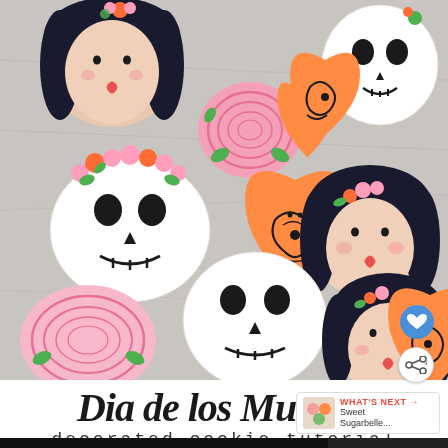[Figure (photo): Decorated sugar cookies for Dia de los Muertos: skull-shaped cookies with floral crowns, heart-shaped orange cookies with black designs, round pink swirled cookies, and doll-face cookies with black hair and pink/orange flowers, arranged on a gray marble surface.]
Dia de los Muertos
decorated cookie tutorial
WHAT'S NEXT → Sweet Sugarbelle...